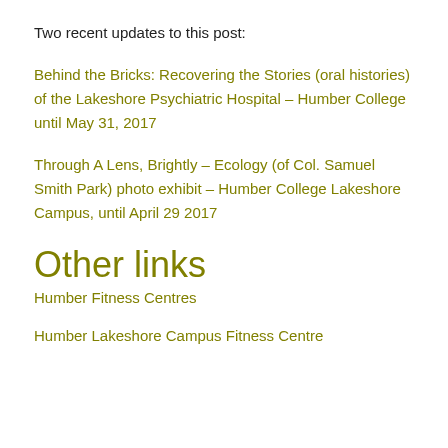Two recent updates to this post:
Behind the Bricks: Recovering the Stories (oral histories) of the Lakeshore Psychiatric Hospital – Humber College until May 31, 2017
Through A Lens, Brightly – Ecology (of Col. Samuel Smith Park) photo exhibit – Humber College Lakeshore Campus, until April 29 2017
Other links
Humber Fitness Centres
Humber Lakeshore Campus Fitness Centre